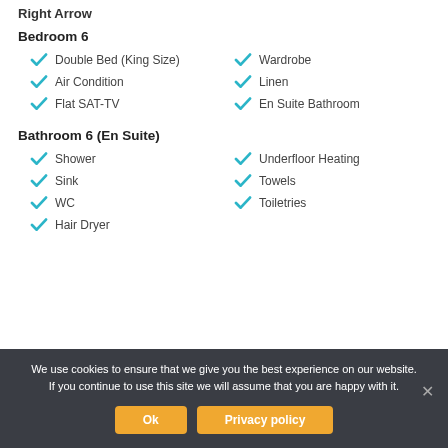Right Arrow
Bedroom 6
Double Bed (King Size)
Wardrobe
Air Condition
Linen
Flat SAT-TV
En Suite Bathroom
Bathroom 6 (En Suite)
Shower
Underfloor Heating
Sink
Towels
WC
Toiletries
Hair Dryer
We use cookies to ensure that we give you the best experience on our website. If you continue to use this site we will assume that you are happy with it.